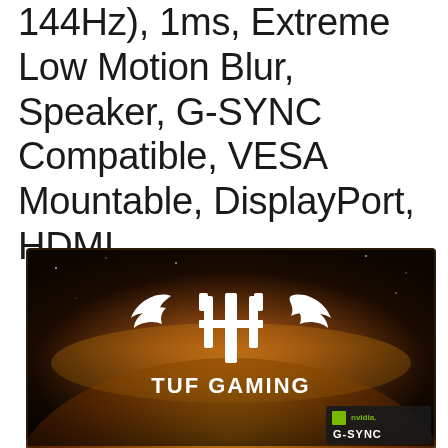144Hz), 1ms, Extreme Low Motion Blur, Speaker, G-SYNC Compatible, VESA Mountable, DisplayPort, HDMI
[Figure (photo): ASUS TUF Gaming monitor product image showing the TUF Gaming logo (winged trident symbol) against a space/planet background with orange/gold lighting. Bottom right shows NVIDIA G-SYNC Compatible badge.]